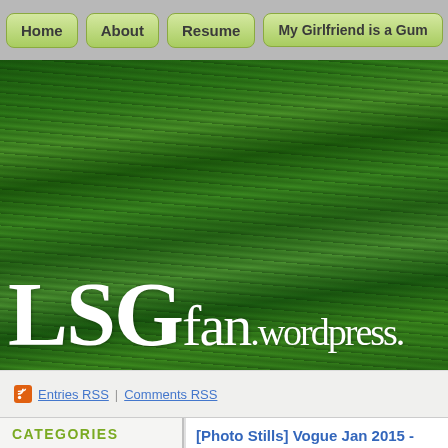Home | About | Resume | My Girlfriend is a Gum...
[Figure (photo): LSGfan.wordpress.com blog header with large white bold text 'LSGfan.wordpress.' overlaid on green grass background photo]
Entries RSS | Comments RSS
CATEGORIES
Select Category
SUBSCRIPTION
Enter your email address to receive notifications of new
[Photo Stills] Vogue Jan 2015 -
Posted on January 1, 2015 by LSGfan
[Figure (photo): Partial photo showing a pink/peach background with dark clothing visible at bottom right corner]